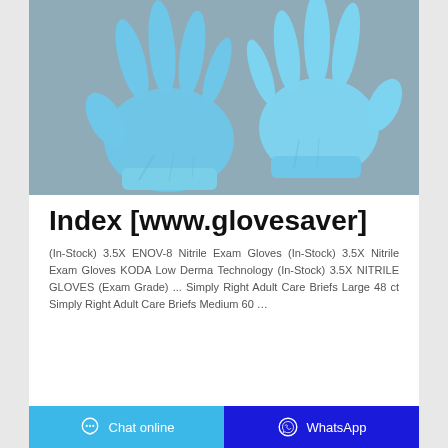[Figure (photo): Two blue nitrile exam gloves laid flat on a gray surface, one facing palm-up and one palm-down.]
Index [www.glovesaver]
(In-Stock) 3.5X ENOV-8 Nitrile Exam Gloves (In-Stock) 3.5X Nitrile Exam Gloves KODA Low Derma Technology (In-Stock) 3.5X NITRILE GLOVES (Exam Grade) ... Simply Right Adult Care Briefs Large 48 ct Simply Right Adult Care Briefs Medium 60 …
Chat online   WhatsApp